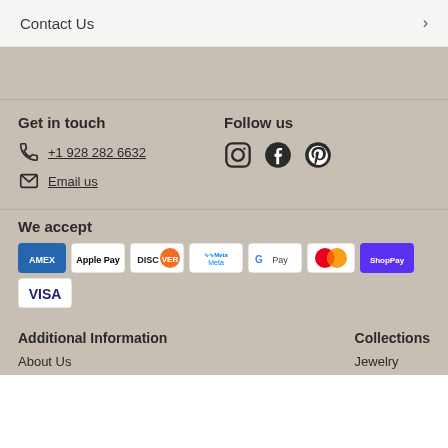Contact Us
Get in touch
+1 928 282 6632
Email us
Follow us
[Figure (other): Instagram, Facebook, Pinterest social media icons]
We accept
[Figure (other): Payment method icons: Amex, Apple Pay, Discover, Meta Pay, Google Pay, Mastercard, ShopPay, Visa]
Additional Information
Collections
About Us
Jewelry